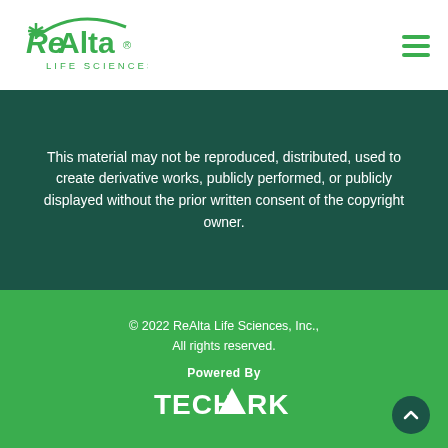[Figure (logo): ReAlta Life Sciences logo in green with star icon and arc above text]
[Figure (other): Hamburger menu icon (three horizontal green lines) in top right corner]
This material may not be reproduced, distributed, used to create derivative works, publicly performed, or publicly displayed without the prior written consent of the copyright owner.
© 2022 ReAlta Life Sciences, Inc., All rights reserved.
Powered By
TECHARK